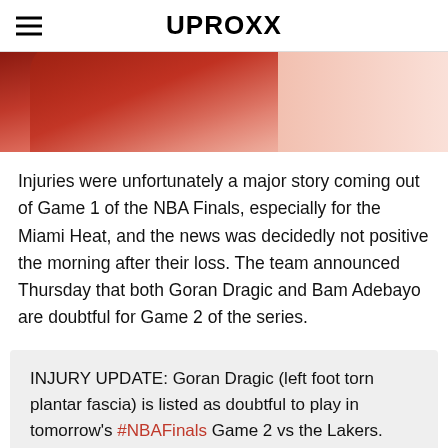UPROXX
[Figure (photo): Partial view of a basketball player in a red uniform, cropped at top of page]
Injuries were unfortunately a major story coming out of Game 1 of the NBA Finals, especially for the Miami Heat, and the news was decidedly not positive the morning after their loss. The team announced Thursday that both Goran Dragic and Bam Adebayo are doubtful for Game 2 of the series.
INJURY UPDATE: Goran Dragic (left foot torn plantar fascia) is listed as doubtful to play in tomorrow's #NBAFinals Game 2 vs the Lakers.